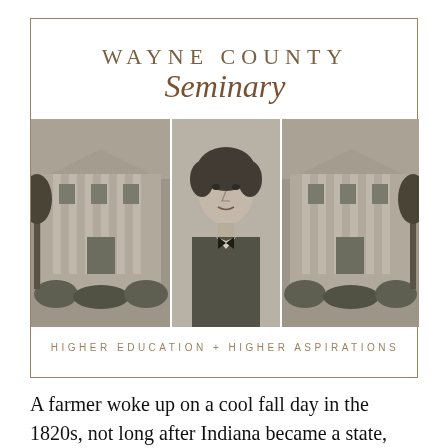WAYNE COUNTY Seminary
[Figure (photo): Three black-and-white images arranged horizontally: left and right show a classical building with columns (Wayne County Seminary), center shows a formal portrait photograph of a young man in 19th-century attire.]
HIGHER EDUCATION + HIGHER ASPIRATIONS
A farmer woke up on a cool fall day in the 1820s, not long after Indiana became a state, with a lot on his mind. He worried that he